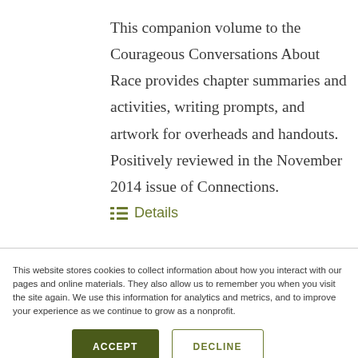This companion volume to the Courageous Conversations About Race provides chapter summaries and activities, writing prompts, and artwork for overheads and handouts. Positively reviewed in the November 2014 issue of Connections.
≡ Details
This website stores cookies to collect information about how you interact with our pages and online materials. They also allow us to remember you when you visit the site again. We use this information for analytics and metrics, and to improve your experience as we continue to grow as a nonprofit.